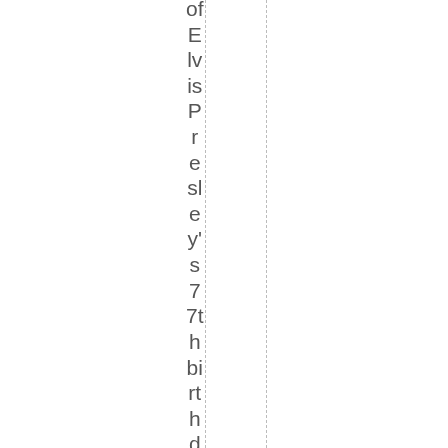of Elvis Presley's 77th birthday, and inc